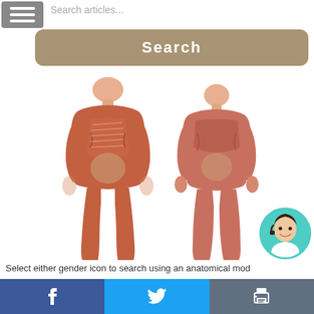[Figure (screenshot): Menu hamburger icon (three horizontal white lines on grey background)]
Search articles...
[Figure (screenshot): Search button — rounded rectangle with tan/khaki background and white bold 'Search' text]
[Figure (illustration): Two anatomical body figures side by side: left is male showing muscles and internal organs (front view), right is female showing muscles and internal organs (front view). Both rendered as realistic medical illustrations with reddish muscle tones.]
[Figure (photo): Circular avatar photo of a young woman wearing a white lab coat or medical attire, positioned bottom-right, with teal/turquoise circular border.]
Select either gender icon to search using an anatomical mod
[Figure (screenshot): Footer bar with three sections: Facebook icon (dark blue), Twitter bird icon (light blue), Print icon (dark grey-blue)]